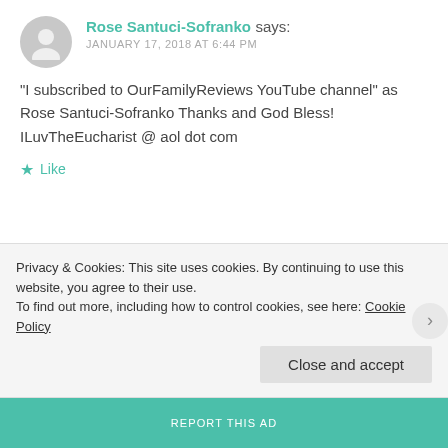Rose Santuci-Sofranko says:
JANUARY 17, 2018 AT 6:44 PM
“I subscribed to OurFamilyReviews YouTube channel” as Rose Santuci-Sofranko Thanks and God Bless! ILuvTheEucharist @ aol dot com
★ Like
constance23 says:
JANUARY 17, 2018 AT 4:32 PM
Privacy & Cookies: This site uses cookies. By continuing to use this website, you agree to their use.
To find out more, including how to control cookies, see here: Cookie Policy
Close and accept